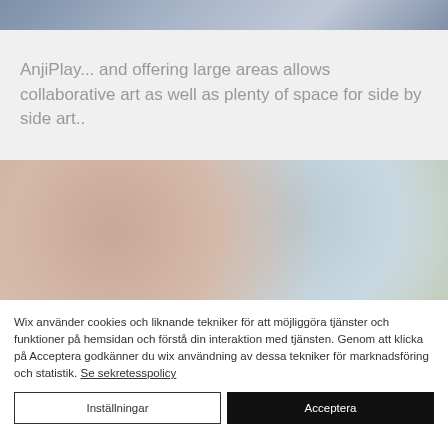[Figure (photo): Top strip showing a blurred or gradient image, partially visible at the top of the page.]
AnjiPlay... and offering large areas allows collaborative art as well as plenty of space for side by side art..
[Figure (photo): Blurred artwork image showing soft colors including pinks, blues, greens and beige tones, likely children's collaborative art.]
Wix använder cookies och liknande tekniker för att möjliggöra tjänster och funktioner på hemsidan och förstå din interaktion med tjänsten. Genom att klicka på Acceptera godkänner du wix användning av dessa tekniker för marknadsföring och statistik. Se sekretesspolicy
Inställningar
Acceptera